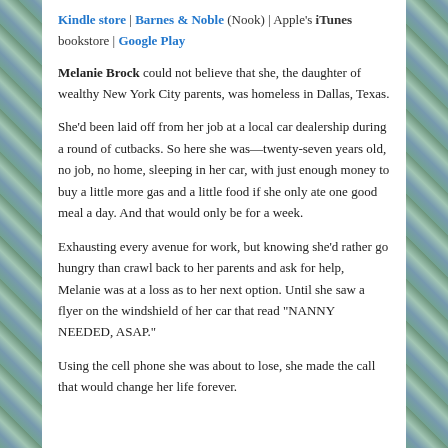Kindle store | Barnes & Noble (Nook) | Apple's iTunes bookstore | Google Play
Melanie Brock could not believe that she, the daughter of wealthy New York City parents, was homeless in Dallas, Texas.
She'd been laid off from her job at a local car dealership during a round of cutbacks. So here she was—twenty-seven years old, no job, no home, sleeping in her car, with just enough money to buy a little more gas and a little food if she only ate one good meal a day. And that would only be for a week.
Exhausting every avenue for work, but knowing she'd rather go hungry than crawl back to her parents and ask for help, Melanie was at a loss as to her next option. Until she saw a flyer on the windshield of her car that read "NANNY NEEDED, ASAP."
Using the cell phone she was about to lose, she made the call that would change her life forever.